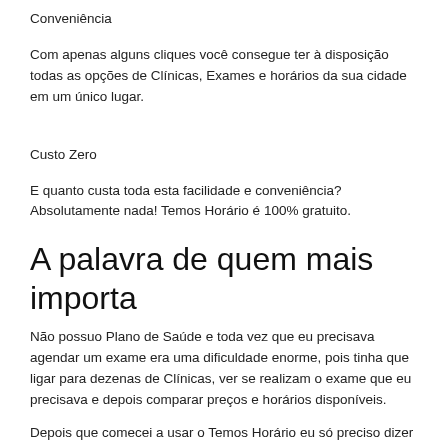Conveniência
Com apenas alguns cliques você consegue ter à disposição todas as opções de Clínicas, Exames e horários da sua cidade em um único lugar.
Custo Zero
E quanto custa toda esta facilidade e conveniência? Absolutamente nada! Temos Horário é 100% gratuito.
A palavra de quem mais importa
Não possuo Plano de Saúde e toda vez que eu precisava agendar um exame era uma dificuldade enorme, pois tinha que ligar para dezenas de Clínicas, ver se realizam o exame que eu precisava e depois comparar preços e horários disponíveis.
Depois que comecei a usar o Temos Horário eu só preciso dizer qual o exame que quero fazer e o site já faz toda a pesquisa e comparação de preços para mim.
Eu só preciso escolher a melhor Clínica e agendar o meu